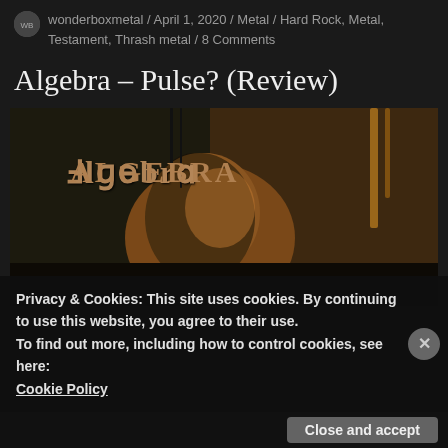wonderboxmetal / April 1, 2020 / Metal / Hard Rock, Metal, Testament, Thrash metal / 8 Comments
Algebra – Pulse? (Review)
[Figure (photo): Album cover art for Algebra - Pulse? showing dark, heavy metal artwork with the band name in gothic lettering over a dark background with an orange/brown figure and shadowy environment]
Privacy & Cookies: This site uses cookies. By continuing to use this website, you agree to their use.
To find out more, including how to control cookies, see here: Cookie Policy
Close and accept